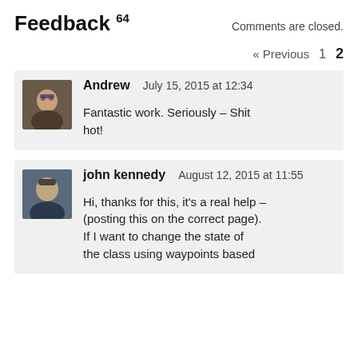Feedback 64
Comments are closed.
« Previous  1  2
Andrew  July 15, 2015 at 12:34
Fantastic work. Seriously – Shit hot!
john kennedy  August 12, 2015 at 11:55
Hi, thanks for this, it's a real help – (posting this on the correct page). If I want to change the state of the class using waypoints based